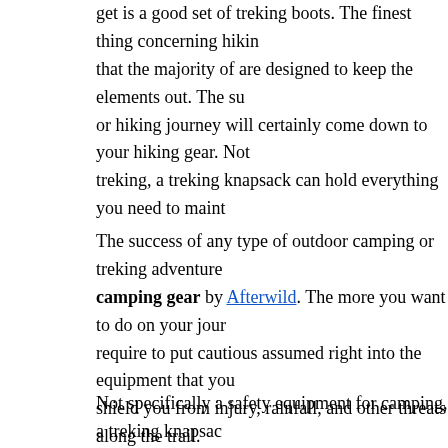get is a good set of treking boots. The finest thing concerning hiking boots is that the majority of are designed to keep the elements out. The success of any camping or hiking journey will certainly come down to your hiking gear. Not only does it apply for treking, a treking knapsack can hold everything you need to maintain you safe.
The success of any type of outdoor camping or treking adventure starts with the best camping gear by Afterwild. The more you want to do on your journey, the more you require to put cautious assumed right into the equipment that you select. It should shield you from injury, rainfall, and other threats along the trail.
Not specifically a safety equipment for camping, a treking knapsack carries everything you require to maintain you risk-free. You can also use it to lug drugs and other items to stay healthy and balanced. You utilize it the method that you require to.
The best thing about treking coats and pants is that a lot of are made to keep aspects out. When you have pants that are designed for treking, they can guard your legs from branches as well as various other things that you may pass while treking.
Are you preparing an outdoor camping trip? It is amazing. Whether you select to go camping, or plan to hike right into the forests to see hill streams, the gear that you need belongs on the road. As well as the most essential piece is...